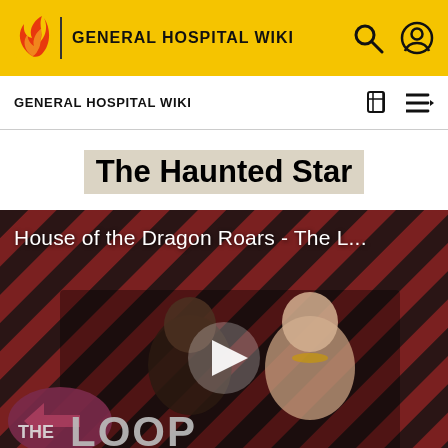GENERAL HOSPITAL WIKI
GENERAL HOSPITAL WIKI
The Haunted Star
[Figure (screenshot): Video thumbnail for 'House of the Dragon Roars - The L...' showing two characters from House of the Dragon on a diagonal red/dark striped background with 'THE LOOP' logo and a play button overlay.]